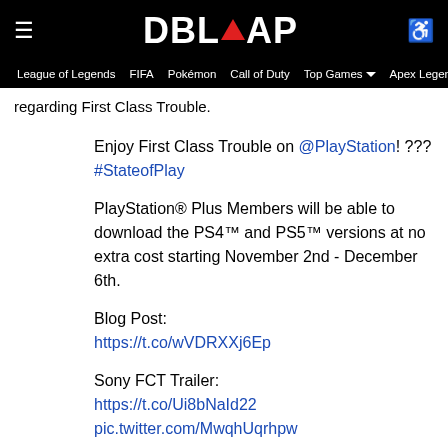DBLTAP
League of Legends  FIFA  Pokémon  Call of Duty  Top Games  Apex Legends  Overwatch
regarding First Class Trouble.
Enjoy First Class Trouble on @PlayStation! ??? #StateofPlay

PlayStation® Plus Members will be able to download the PS4™ and PS5™ versions at no extra cost starting November 2nd - December 6th.

Blog Post:
https://t.co/wVDRXXj6Ep

Sony FCT Trailer:
https://t.co/Ui8bNaId22
pic.twitter.com/MwqhUqrhpw